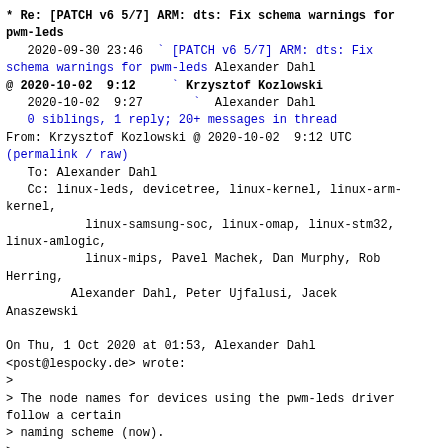* Re: [PATCH v6 5/7] ARM: dts: Fix schema warnings for pwm-leds
   2020-09-30 23:46  ` [PATCH v6 5/7] ARM: dts: Fix schema warnings for pwm-leds Alexander Dahl
@ 2020-10-02  9:12     ` Krzysztof Kozlowski
   2020-10-02  9:27       ` Alexander Dahl
   0 siblings, 1 reply; 20+ messages in thread
From: Krzysztof Kozlowski @ 2020-10-02  9:12 UTC
(permalink / raw)
   To: Alexander Dahl
   Cc: linux-leds, devicetree, linux-kernel, linux-arm-kernel,
           linux-samsung-soc, linux-omap, linux-stm32, linux-amlogic,
           linux-mips, Pavel Machek, Dan Murphy, Rob Herring,
         Alexander Dahl, Peter Ujfalusi, Jacek Anaszewski

On Thu, 1 Oct 2020 at 01:53, Alexander Dahl
<post@lespocky.de> wrote:
>
> The node names for devices using the pwm-leds driver follow a certain
> naming scheme (now).
>
> Signed-off-by: Alexander Dahl <post@lespocky.de>
> ---
>